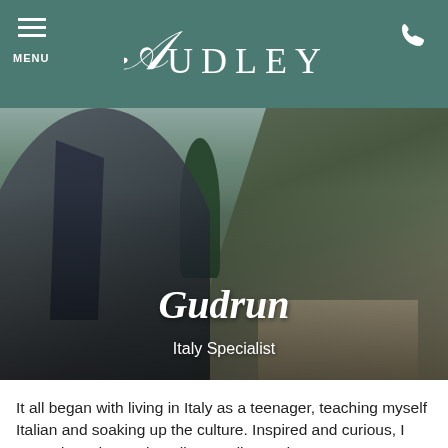MENU | AUDLEY | [phone icon]
[Figure (photo): A young woman smiling, wearing a light top and dark scarf, standing in front of an Italian coastal hillside town (likely the Amalfi Coast) with dramatic cliffs, green trees, and colorful buildings in the background. Text overlay shows 'Gudrun' and 'Italy Specialist'.]
Gudrun
Italy Specialist
It all began with living in Italy as a teenager, teaching myself Italian and soaking up the culture. Inspired and curious, I earned my degree in Italian Studies and